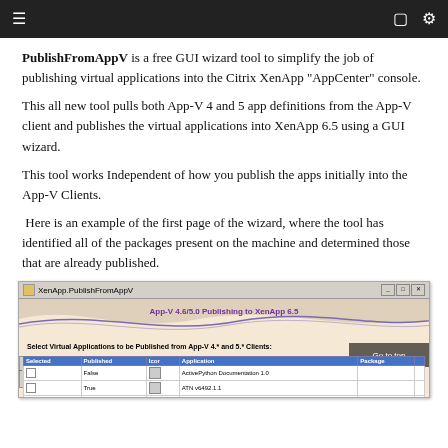≡  □ ⚙
PublishFromAppV is a free GUI wizard tool to simplify the job of publishing virtual applications into the Citrix XenApp "AppCenter" console.
This all new tool pulls both App-V 4 and 5 app definitions from the App-V client and publishes the virtual applications into XenApp 6.5 using a GUI wizard.
This tool works Independent of how you publish the apps initially into the App-V Clients.
Here is an example of the first page of the wizard, where the tool has identified all of the packages present on the machine and determined those that are already published.
[Figure (screenshot): Screenshot of XenApp.PublishFromAppV GUI wizard showing 'App-V 4.6/5.0 Publishing to XenApp 6.5' title, a table listing virtual applications with columns Selected, Published, Icon, Application, Package. Rows include ActivePython Documentation 1.0 (False), ATN v6492.1.1 (True), Hku68a 3.5 (True), IDLE (Python GUE) 1.0 (False). A 'Go to top' button overlay is visible.]